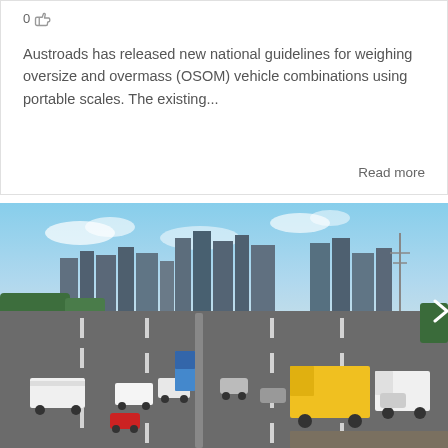0
Austroads has released new national guidelines for weighing oversize and overmass (OSOM) vehicle combinations using portable scales. The existing...
Read more
[Figure (photo): Aerial view of a busy multi-lane highway in Australia with heavy traffic including trucks and cars, with a city skyline visible in the background.]